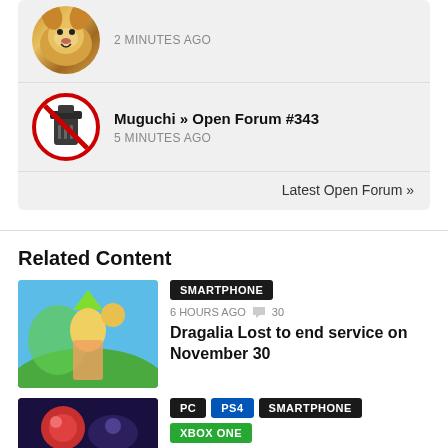2 MINUTES AGO
Muguchi » Open Forum #343
5 MINUTES AGO
Latest Open Forum »
Related Content
SMARTPHONE
6 HOURS AGO  30
Dragalia Lost to end service on November 30
PC  PS4  SMARTPHONE  XBOX ONE
8 HOURS AGO  2